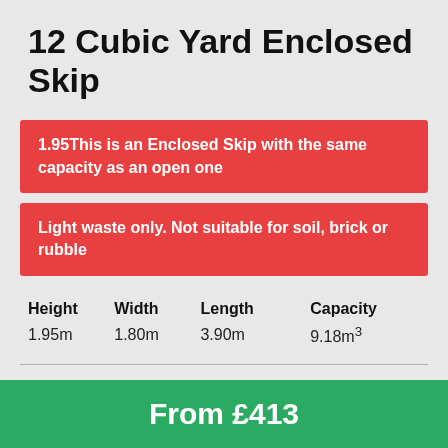12 Cubic Yard Enclosed Skip
1.95This is an Enclosed Skip with the same capacity as an open one
Light waste only. Not suitable for soil, brick or rubble
| Height | Width | Length | Capacity |
| --- | --- | --- | --- |
| 1.95m | 1.80m | 3.90m | 9.18m³ |
From £413